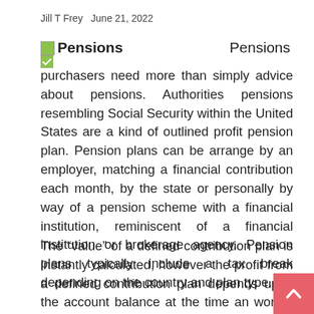Jill T Frey  June 21, 2022
Pensions   Pensions
purchasers need more than simply advice about pensions. Authorities pensions resembling Social Security within the United States are a kind of outlined profit pension plan. Pension plans can be arrange by an employer, matching a financial contribution each month, by the state or personally by way of a pension scheme with a financial institution, reminiscent of a financial institution or brokerage agency. Pension plans typically include a tax break depending on the country and plan type.
The “value” of a defined contribution plan is instantly calculated, however the profit from a defined contribution plan depends upon the account balance at the time an worker is